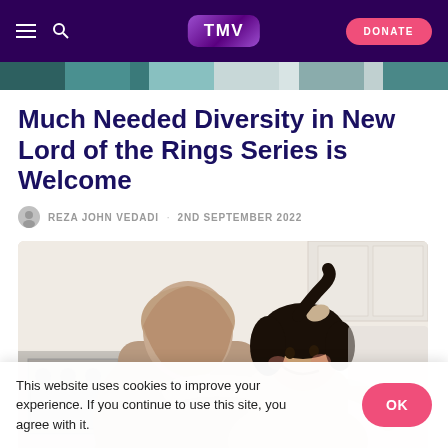TMV | DONATE
[Figure (photo): Strip of thumbnail images at top of page showing various people]
Much Needed Diversity in New Lord of the Rings Series is Welcome
REZA JOHN VEDADI · 2ND SEPTEMBER 2022
[Figure (photo): A woman wearing a tan/brown hijab being hugged by a smiling young girl with dark curly hair and a scrunchie, in a kitchen setting]
This website uses cookies to improve your experience. If you continue to use this site, you agree with it.